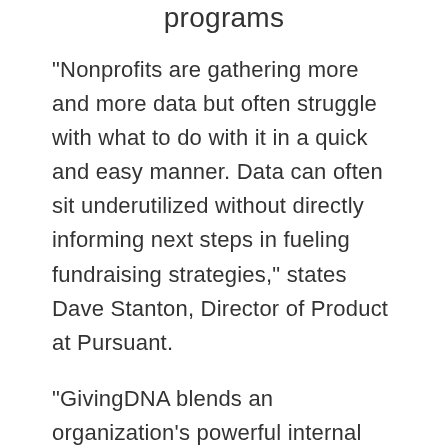programs
“Nonprofits are gathering more and more data but often struggle with what to do with it in a quick and easy manner. Data can often sit underutilized without directly informing next steps in fueling fundraising strategies,” states Dave Stanton, Director of Product at Pursuant.
“GivingDNA blends an organization’s powerful internal data with expansive external, third-party data and allows them to quickly see the ‘stories’ and segment their file to make more strategic fundraising decisions in a